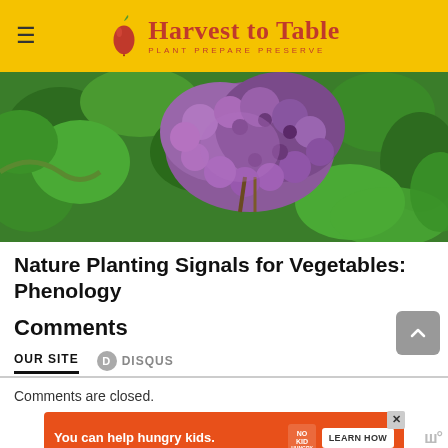Harvest to Table — PLANT PREPARE PRESERVE
[Figure (photo): Close-up photograph of purple lilac flowers in bloom with green leaves in the background]
Nature Planting Signals for Vegetables: Phenology
Comments
OUR SITE   DISQUS
Comments are closed.
[Figure (infographic): Advertisement banner: You can help hungry kids. No Kid Hungry. LEARN HOW]